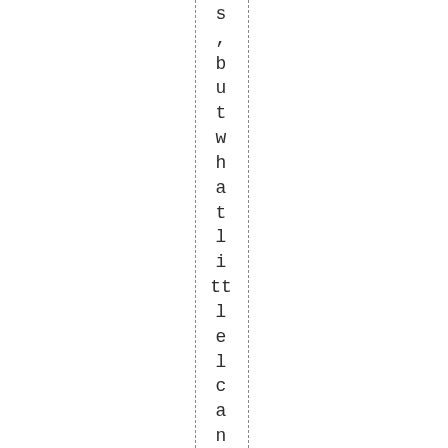s ,butwhatlittleIcangraspmaKesmev